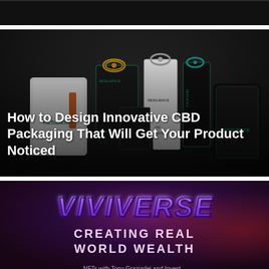[Figure (photo): Partial dark image strip at top of page, appears to be the bottom of a dark-background photo]
[Figure (photo): CBD product packaging photo showing multiple RESILIENCE branded products including pouches, boxes and containers arranged on a dark background with gift bows]
How to Design Innovative CBD Packaging That Will Get Your Product Noticed
[Figure (photo): Dark promotional image with large stylized 'VIVIVERSE' logo text in purple/blue gradient with text 'CREATING REAL WORLD WEALTH' below on dark red-purple background]
NFTs with Tony Graziadei and Invest...